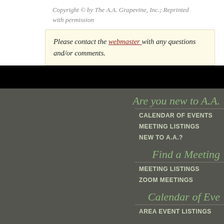Copyright © by The A.A. Grapevine, Inc.; Reprinted with permission
Please contact the webmaster with any questions and/or comments.
Are you new to A.A.
CALENDAR OF EVENTS
MEETING LISTINGS
NEW TO A.A.?
Find a Meeting
MEETING LISTINGS
ZOOM MEETINGS
Calendar of Eve
AREA EVENT LISTINGS
Area Committe
AREA AGENDAS